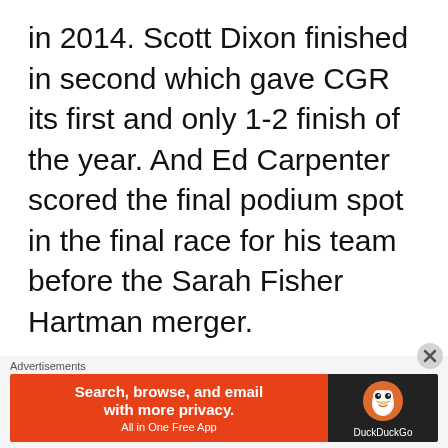in 2014. Scott Dixon finished in second which gave CGR its first and only 1-2 finish of the year. And Ed Carpenter scored the final podium spot in the final race for his team before the Sarah Fisher Hartman merger.

Juan Montoya had control of the race early but once the sun went
Advertisements
[Figure (screenshot): DuckDuckGo advertisement banner: orange left section with text 'Search, browse, and email with more privacy. All in One Free App' and dark right section with DuckDuckGo duck logo and brand name.]